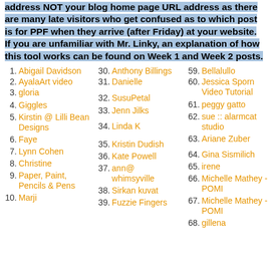address NOT your blog home page URL address as there are many late visitors who get confused as to which post is for PPF when they arrive (after Friday) at your website. If you are unfamiliar with Mr. Linky, an explanation of how this tool works can be found on Week 1 and Week 2 posts.
1. Abigail Davidson
2. AyalaArt video
3. gloria
4. Giggles
5. Kirstin @ Lilli Bean Designs
6. Faye
7. Lynn Cohen
8. Christine
9. Paper, Paint, Pencils & Pens
10. Marji
30. Anthony Billings
31. Danielle
32. SusuPetal
33. Jenn Jilks
34. Linda K
35. Kristin Dudish
36. Kate Powell
37. ann@ whimsyville
38. Sirkan kuvat
39. Fuzzie Fingers
59. Bellalullo
60. Jessica Sporn Video Tutorial
61. peggy gatto
62. sue :: alarmcat studio
63. Ariane Zuber
64. Gina Sismilich
65. irene
66. Michelle Mathey - POMI
67. Michelle Mathey - POMI
68. gillena